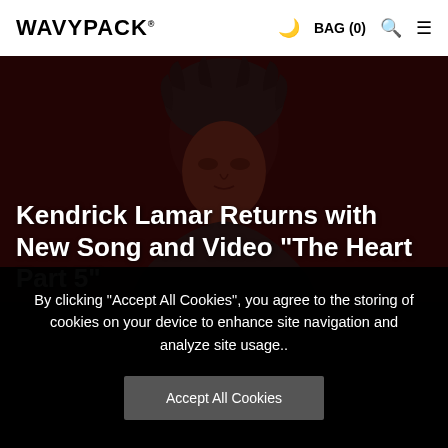WAVYPACK® BAG (0)
[Figure (photo): Dark portrait photo of Kendrick Lamar against a dark red/maroon background, face partially visible, with dreadlocks.]
Kendrick Lamar Returns with New Song and Video "The Heart Part 5"
By clicking “Accept All Cookies”, you agree to the storing of cookies on your device to enhance site navigation and analyze site usage..
Accept All Cookies